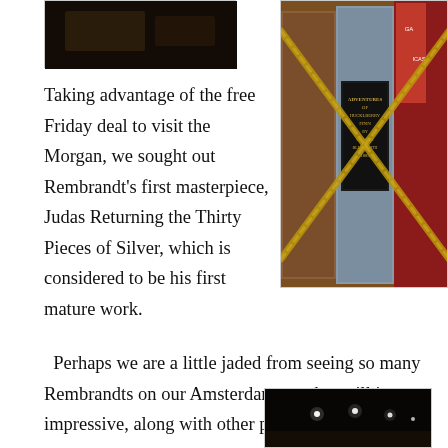[Figure (photo): Dark photo, partially visible at top left, appears to show a dark surface or object]
[Figure (photo): Photo of antique books with rope or chain in front. Center book spine reads 'ADVENTURES OF HUCKLBERRY FINN by CLASSES BLUE CLOTH 1885']
Taking advantage of the free Friday deal to visit the Morgan, we sought out Rembrandt's first masterpiece, Judas Returning the Thirty Pieces of Silver, which is considered to be his first mature work.  Perhaps we are a little jaded from seeing so many Rembrandts on our Amsterdam tour but still it was impressive, along with other pieces of his work on display.
[Figure (photo): Dark photo at bottom right showing small white light dots against very dark background]